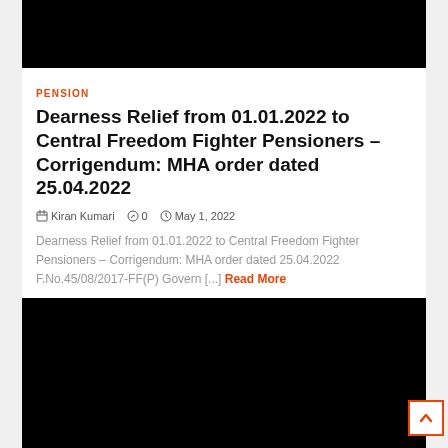[Figure (photo): Black banner image at top of article card]
PENSION
Dearness Relief from 01.01.2022 to Central Freedom Fighter Pensioners – Corrigendum: MHA order dated 25.04.2022
Kiran Kumari   0   May 1, 2022
Dearness Relief from 01.01.2022 to Central Freedom Fighter Pensioners – Corrigendum: MHA order dated 25.04.2022 F.No.45/08/2017-FF(P) Govern [...] Read More
[Figure (photo): Black banner image at bottom of article card]